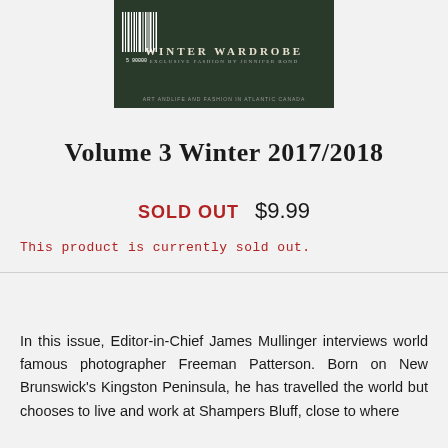[Figure (illustration): Magazine cover with dark green/black background showing 'WINTER WARDROBE' text, a barcode on the left, and subtitle text. Footer text at bottom of cover image.]
Volume 3 Winter 2017/2018
SOLD OUT  $9.99
This product is currently sold out.
In this issue, Editor-in-Chief James Mullinger interviews world famous photographer Freeman Patterson. Born on New Brunswick's Kingston Peninsula, he has travelled the world but chooses to live and work at Shampers Bluff, close to where